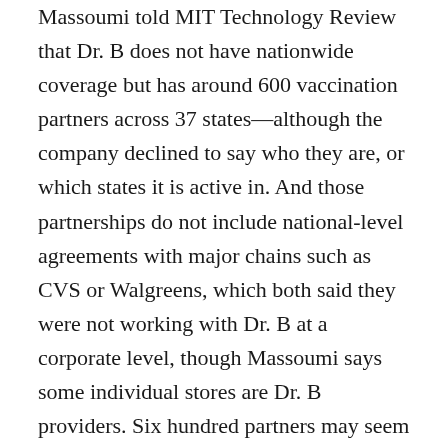Massoumi told MIT Technology Review that Dr. B does not have nationwide coverage but has around 600 vaccination partners across 37 states—although the company declined to say who they are, or which states it is active in. And those partnerships do not include national-level agreements with major chains such as CVS or Walgreens, which both said they were not working with Dr. B at a corporate level, though Massoumi says some individual stores are Dr. B providers. Six hundred partners may seem extensive, but it accounts for less than 1% of the more than 80,000 US vaccination sites tracked by the CDC.
Dr. B's limited presence may come as a surprise, given its founder's experience in digital health services. Massoumi previously cofounded Zocdoc, a popular online appointment search and booking site, and served as its CEO. He left Zocdoc in 2015 and went on to start Shadow, an app that helps reunite lost cats with their owners. While Dr. B—which Massoumi is...